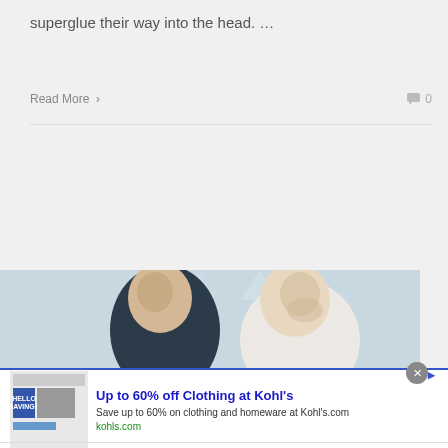superglue their way into the head. ...
Read More >   💬 0
[Figure (photo): Two men in casual clothing photographed from the side/front against a light background, with an infolinks label overlay in the bottom left corner]
[Figure (infographic): Advertisement overlay: 'Up to 60% off Clothing at Kohl's - Save up to 60% on clothing and homeware at Kohls.com - kohls.com' with a close button (x) and a navigation arrow button on the right]